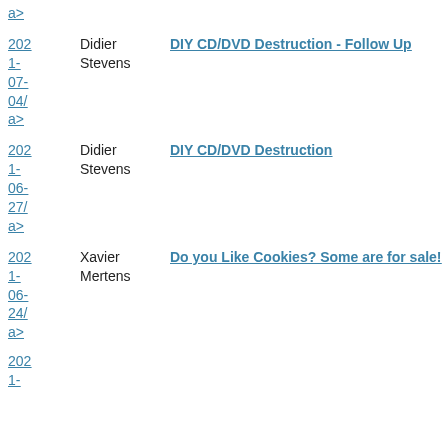a>
2021-07-04/ a> Didier Stevens DIY CD/DVD Destruction - Follow Up
2021-06-27/ a> Didier Stevens DIY CD/DVD Destruction
2021-06-24/ a> Xavier Mertens Do you Like Cookies? Some are for sale!
202 1-